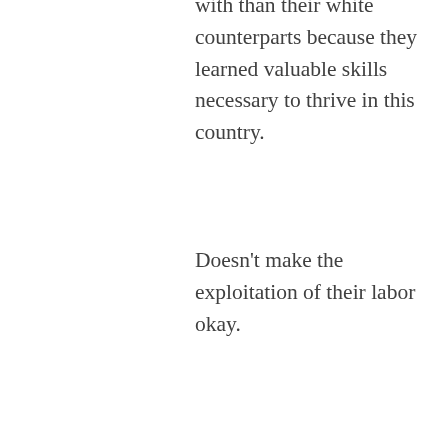with than their white counterparts because they learned valuable skills necessary to thrive in this country.
Doesn’t make the exploitation of their labor okay.
★ Liked by 1 person
[Figure (logo): Orange geometric pinwheel/quilt pattern avatar for user shirley]
shirley
JUNE 2, 2015 AT
17:24